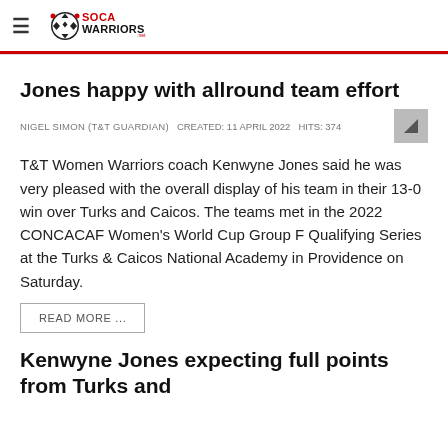SOCAWARRIORS.net
Jones happy with allround team effort
NIGEL SIMON (T&T GUARDIAN)   CREATED: 11 APRIL 2022   HITS: 374
T&T Women Warriors coach Kenwyne Jones said he was very pleased with the overall display of his team in their 13-0 win over Turks and Caicos. The teams met in the 2022 CONCACAF Women's World Cup Group F Qualifying Series at the Turks & Caicos National Academy in Providence on Saturday.
READ MORE ...
Kenwyne Jones expecting full points from Turks and